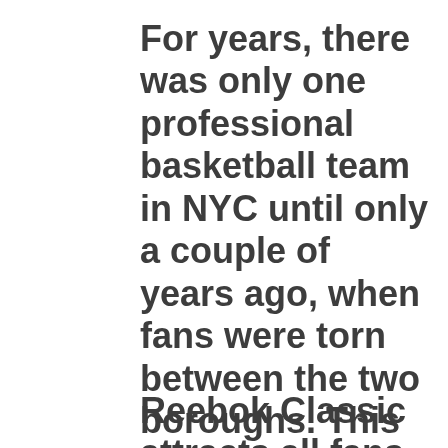For years, there was only one professional basketball team in NYC until only a couple of years ago, when fans were torn between the two boroughs. This year for All-Star weekend, fans will flock to both stadiums to witness the best players in the world.
Reebok Classic attracts all fans with the…